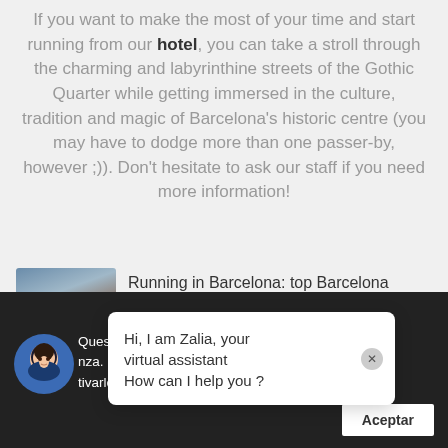If you want to make the most of your time and start running from our hotel, you can take a stroll through the charming and labyrinthine streets of the Gothic Quarter while getting immersed in the culture, tradition and magic of Barcelona's historic centre (you may have to dodge more than one passer-by, however ;)). Don't hesitate to ask our staff if you need more information!
[Figure (photo): Aerial view of Barcelona cityscape with green badge icon]
Running in Barcelona: top Barcelona running routes
...ideas about...
Hi, I am Zalia, your virtual assistant How can I help you ?
Questo ... migliorare la tua ...nza. Daremo per scontato che tu stia bene, ma puoi ...tivarlo se lo desideri. Politica dei Cookie
Aceptar